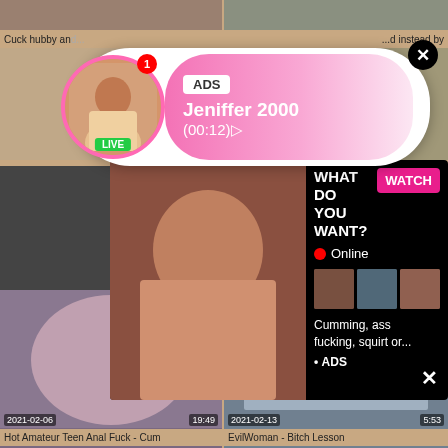Cuck hubby and... ...d instead by
[Figure (screenshot): Ad popup bubble with avatar of woman, LIVE badge, ADS tag, name Jeniffer 2000, time (00:12), pink gradient background, close X button]
[Figure (screenshot): Video overlay popup with thumbnail of woman, WHAT DO YOU WANT? heading, WATCH button, Online indicator, three small thumbnails, text: Cumming, ass fucking, squirt or... ADS]
[Figure (photo): Video thumbnail of woman in lingerie, bottom view]
2021-02-06	19:49
Hot Amateur Teen Anal Fuck - Cum
[Figure (photo): Video thumbnail of woman in black stockings standing by chair]
2021-02-13	5:53
EvilWoman - Bitch Lesson
[Figure (photo): Video thumbnail of laughing woman]
[Figure (photo): Video thumbnail of person making face, black and white stripes background]